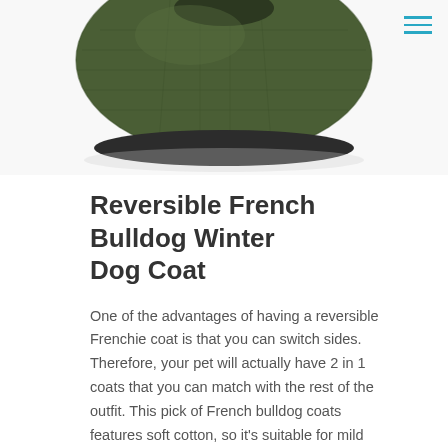[Figure (photo): Green reversible French Bulldog winter dog coat, quilted fabric, photographed from above on white background]
Reversible French Bulldog Winter Dog Coat
One of the advantages of having a reversible Frenchie coat is that you can switch sides. Therefore, your pet will actually have 2 in 1 coats that you can match with the rest of the outfit. This pick of French bulldog coats features soft cotton, so it's suitable for mild winter days. If your dog needs an extra layer, you can always put a hoodie on him and match it with your favorite side.
Padded edges that prevent skin irritations.
The inner side is made of soft cotton plush, while